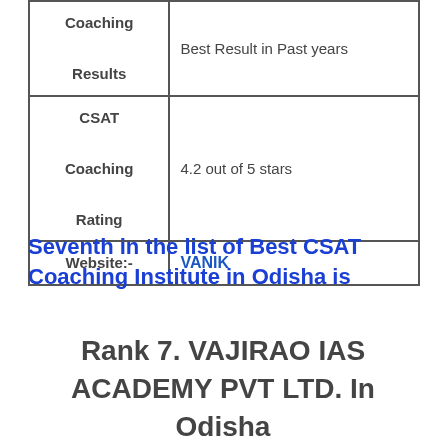|  |  |
| --- | --- |
| Coaching

Results | Best Result in Past years |
| CSAT

Coaching

Rating | 4.2 out of 5 stars |
| Website:- | VANIK |
Seventh in the list of Best CSAT Coaching Institute in Odisha is
Rank 7. VAJIRAO IAS ACADEMY PVT LTD. In Odisha